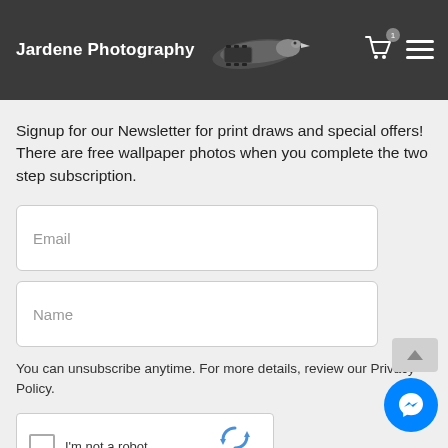Jardene Photography
Signup for our Newsletter for print draws and special offers! There are free wallpaper photos when you complete the two step subscription.
Email
Name
You can unsubscribe anytime. For more details, review our Privacy Policy.
[Figure (screenshot): reCAPTCHA widget with checkbox labeled 'I'm not a robot']
[Figure (illustration): Facebook Messenger blue circle chat button in bottom right corner]